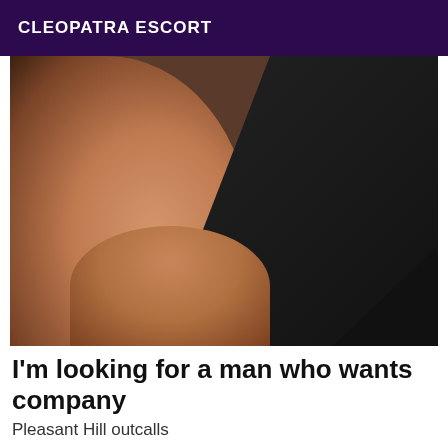CLEOPATRA ESCORT
[Figure (photo): Close-up photo of a person wearing black clothing, partial body view]
I'm looking for a man who wants company
Pleasant Hill outcalls